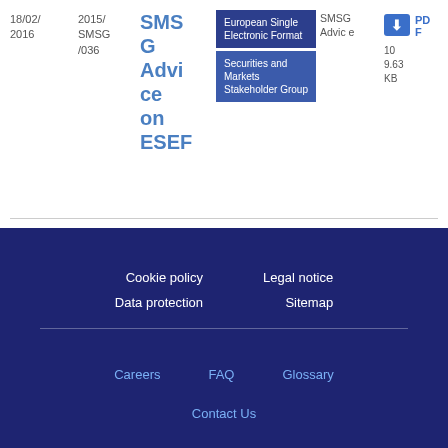| Date | Reference | Title | Tags | Author | Download |
| --- | --- | --- | --- | --- | --- |
| 18/02/
2016 | 2015/
SMSG
/036 | SMSG Advice on ESEF | European Single Electronic Format
Securities and Markets Stakeholder Group | SMSG Advice | PDF
109.63 KB |
Cookie policy   Legal notice
Data protection   Sitemap

Careers   FAQ   Glossary
Contact Us